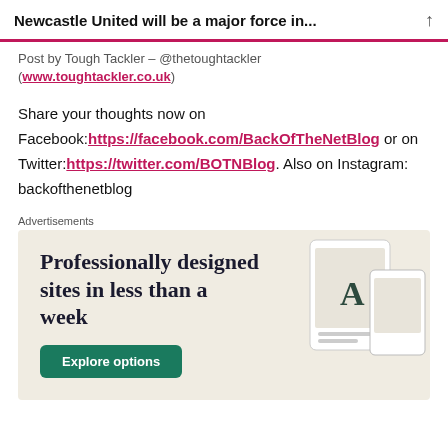Newcastle United will be a major force in...
Post by Tough Tackler – @thetoughtackler (www.toughtackler.co.uk)
Share your thoughts now on Facebook: https://facebook.com/BackOfTheNetBlog or on Twitter: https://twitter.com/BOTNBlog. Also on Instagram: backofthenetblog
Advertisements
[Figure (screenshot): Advertisement for a website builder service showing text 'Professionally designed sites in less than a week' with an 'Explore options' button on a beige background with device mockups.]